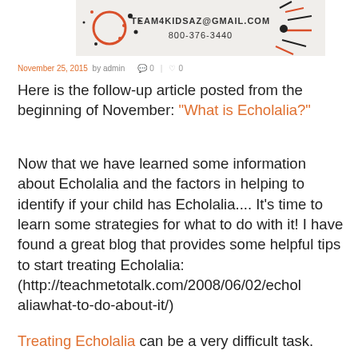[Figure (illustration): Header banner with decorative starburst/dot patterns in red and dark colors on light background, with text TEAM4KIDSAZ@GMAIL.COM and 800-376-3440, a red circle on the left side.]
November 25, 2015 by admin  0  |  0
Here is the follow-up article posted from the beginning of November: “What is Echolalia?”
Now that we have learned some information about Echolalia and the factors in helping to identify if your child has Echolalia.... It’s time to learn some strategies for what to do with it! I have found a great blog that provides some helpful tips to start treating Echolalia: (http://teachmetotalk.com/2008/06/02/echolaliawhat-to-do-about-it/)
Treating Echolalia can be a very difficult task.